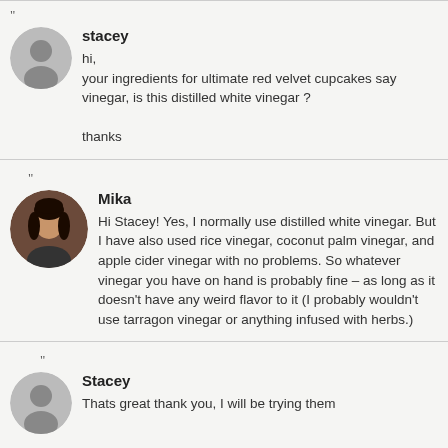"
stacey
hi,
your ingredients for ultimate red velvet cupcakes say vinegar, is this distilled white vinegar ?

thanks
"
Mika
Hi Stacey! Yes, I normally use distilled white vinegar. But I have also used rice vinegar, coconut palm vinegar, and apple cider vinegar with no problems. So whatever vinegar you have on hand is probably fine – as long as it doesn't have any weird flavor to it (I probably wouldn't use tarragon vinegar or anything infused with herbs.)
"
Stacey
Thats great thank you, I will be trying them